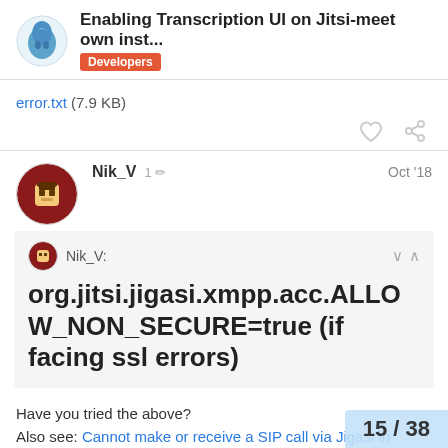Enabling Transcription UI on Jitsi-meet own inst... — Developers
error.txt (7.9 KB)
Nik_V  1  Oct '18
Nik_V: org.jitsi.jigasi.xmpp.acc.ALLOW_NON_SECURE=true (if facing ssl errors)
Have you tried the above?
Also see: Cannot make or receive a SIP call via Jigasi in "secure domain" setup; looks like a certificate issue?  6
15 / 38